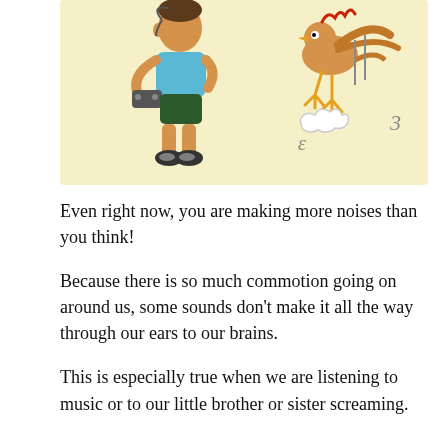[Figure (illustration): A cartoon illustration on a pale yellow background showing a boy in a teal shirt and dark shorts holding a game controller on the left, and on the right a startled bird (chicken/hen) flying upward with motion lines and puff clouds indicating sudden movement.]
Even right now, you are making more noises than you think!
Because there is so much commotion going on around us, some sounds don't make it all the way through our ears to our brains.
This is especially true when we are listening to music or to our little brother or sister screaming.